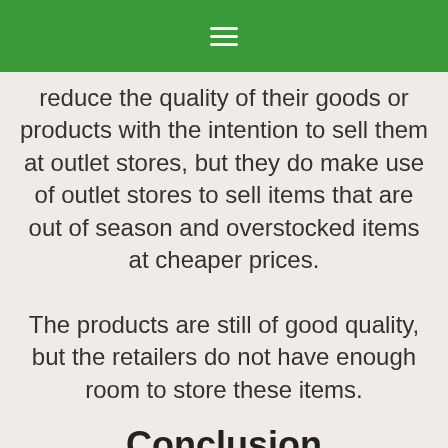≡
reduce the quality of their goods or products with the intention to sell them at outlet stores, but they do make use of outlet stores to sell items that are out of season and overstocked items at cheaper prices.

The products are still of good quality, but the retailers do not have enough room to store these items.
Conclusion
People love to travel and visit beautiful places when they do, especially to shop and